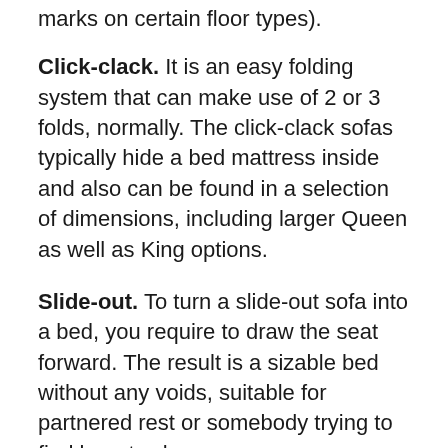marks on certain floor types).
Click-clack. It is an easy folding system that can make use of 2 or 3 folds, normally. The click-clack sofas typically hide a bed mattress inside and also can be found in a selection of dimensions, including larger Queen as well as King options.
Slide-out. To turn a slide-out sofa into a bed, you require to draw the seat forward. The result is a sizable bed without any voids, suitable for partnered rest or somebody trying to find beauty sleep room.
Nevertheless, there are also smaller sized slide-out sleeper sofa offered.